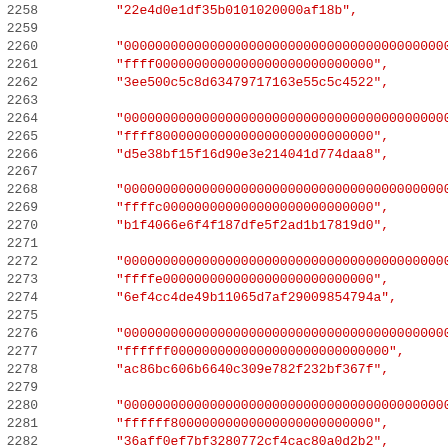2258    "22e4d0e1df35b010102d0000af18b",
2259
2260    "00000000000000000000000000000000000000000000000000000000000000...",
2261    "fffff00000000000000000000000000",
2262    "3ee500c5c8d63479717163e55c5c4522",
2263
2264    "00000000000000000000000000000000000000000000000000000000000000...",
2265    "fffff800000000000000000000000000",
2266    "d5e38bf15f16d90e3e214041d774daa8",
2267
2268    "00000000000000000000000000000000000000000000000000000000000000...",
2269    "ffffc00000000000000000000000000",
2270    "b1f4066e6f4f187dfe5f2ad1b17819d0",
2271
2272    "00000000000000000000000000000000000000000000000000000000000000...",
2273    "ffffe00000000000000000000000000",
2274    "6ef4cc4de49b11065d7af29009854794a",
2275
2276    "00000000000000000000000000000000000000000000000000000000000000...",
2277    "ffffff00000000000000000000000000",
2278    "ac86bc606b6640c309e782f232bf367f",
2279
2280    "00000000000000000000000000000000000000000000000000000000000000...",
2281    "ffffff80000000000000000000000000",
2282    "36aff0ef7bf3280772cf4cac80a0d2b2",
2283
2284    "00000000000000000000000000000000000000000000000000000000000000...",
2285    "ffffffc00000000000000000000000000",
2286    "1f8eedea0f62a1406d58cfc3ecea72cf",
2287
2288    "00000000000000000000000000000000000000000000000000000000000000...",
2289    "ffffffe00000000000000000000000000",
2290    "abf4154a3375a1d3e6b1d454438f95a6",